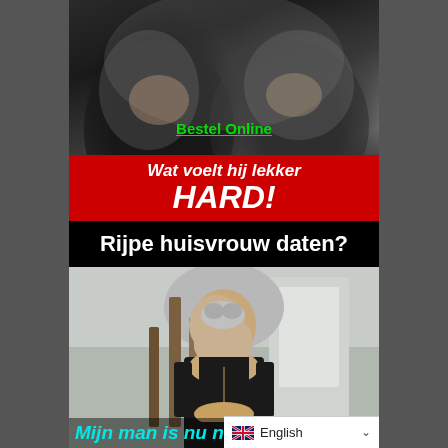[Figure (photo): Black and white close-up photo of two people about to kiss, dark/intimate atmosphere]
Bestel Online
Wat voelt hij lekker HARD!
Rijpe huisvrouw daten?
[Figure (photo): Color photo of a middle-aged woman with grey-brown hair, wearing a black turtleneck and a necklace, smiling, standing near stairs]
Mijn man is nu niet thuis!
English